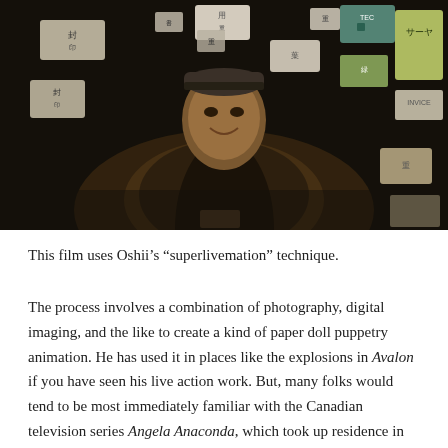[Figure (photo): A man smiling surrounded by floating cards and signs with Asian characters against a dark background, in warm sepia tones.]
This film uses Oshii’s “superlivemation” technique.
The process involves a combination of photography, digital imaging, and the like to create a kind of paper doll puppetry animation. He has used it in places like the explosions in Avalon if you have seen his live action work. But, many folks would tend to be most immediately familiar with the Canadian television series Angela Anaconda, which took up residence in many